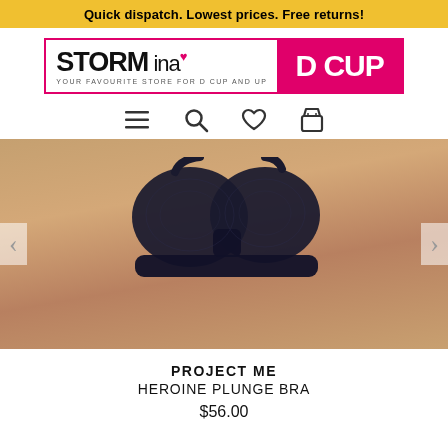Quick dispatch. Lowest prices. Free returns!
[Figure (logo): Storm in a D Cup logo — black text 'STORM' and 'ina' on white left panel, 'D CUP' in white text on pink/magenta right panel, with tagline 'YOUR FAVOURITE STORE FOR D CUP AND UP', enclosed in a pink border]
[Figure (other): Navigation icons: hamburger menu, search magnifier, heart/wishlist, shopping bag]
[Figure (photo): Product photo of a woman wearing a black lace plunge bra (Project Me Heroine Plunge Bra), torso view, with left and right navigation arrows on the sides]
PROJECT ME
HEROINE PLUNGE BRA
$56.00